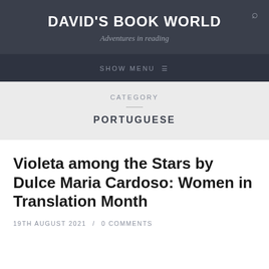DAVID'S BOOK WORLD
Adventures in reading
SHOW MENU
CATEGORY
PORTUGUESE
Violeta among the Stars by Dulce Maria Cardoso: Women in Translation Month
19TH AUGUST 2021 / 0 COMMENTS